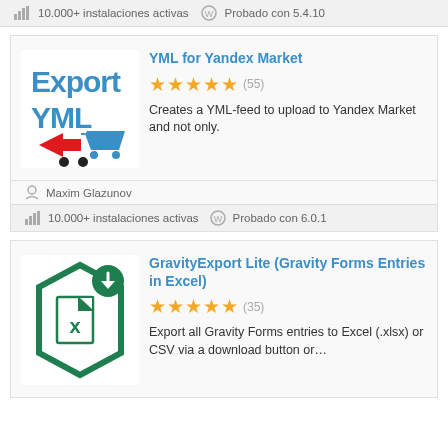10.000+ instalaciones activas   Probado con 5.4.10
[Figure (logo): Export YML plugin logo with red arrow and blue shopping cart]
YML for Yandex Market
★★★★★ (55)
Creates a YML-feed to upload to Yandex Market and not only.
Maxim Glazunov
10.000+ instalaciones activas   Probado con 6.0.1
[Figure (logo): GravityExport Lite plugin logo - green hexagon with Excel file icon and download badge]
GravityExport Lite (Gravity Forms Entries in Excel)
★★★★★ (35)
Export all Gravity Forms entries to Excel (.xlsx) or CSV via a download button or…